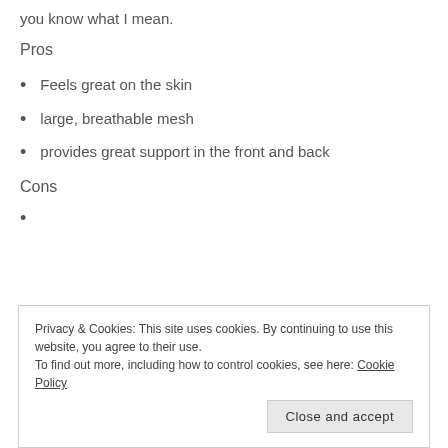you know what I mean.
Pros
Feels great on the skin
large, breathable mesh
provides great support in the front and back
Cons
Privacy & Cookies: This site uses cookies. By continuing to use this website, you agree to their use.
To find out more, including how to control cookies, see here: Cookie Policy